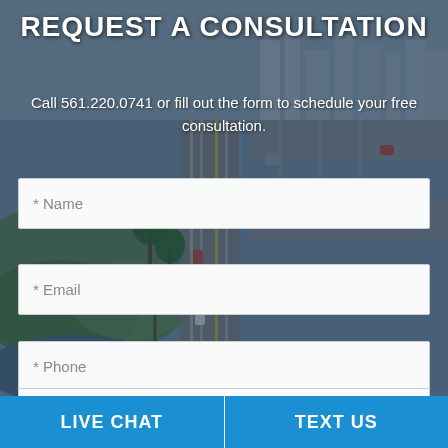[Figure (photo): Aerial view of a Florida city with a golf course, palm trees, and a busy multi-lane road with traffic, forming the background of a consultation request page.]
REQUEST A CONSULTATION
Call 561.220.0741 or fill out the form to schedule your free consultation.
* Name
* Email
* Phone
* Message
LIVE CHAT
TEXT US